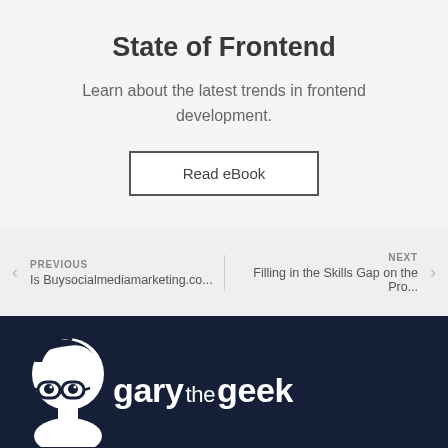State of Frontend
Learn about the latest trends in frontend development.
Read eBook
PREVIOUS
Is Buysocialmediamarketing.co...
NEXT
Filling in the Skills Gap on the Pro...
[Figure (logo): Gary the Geek logo — white cartoon geek character with glasses next to 'gary the geek' text on dark navy background]